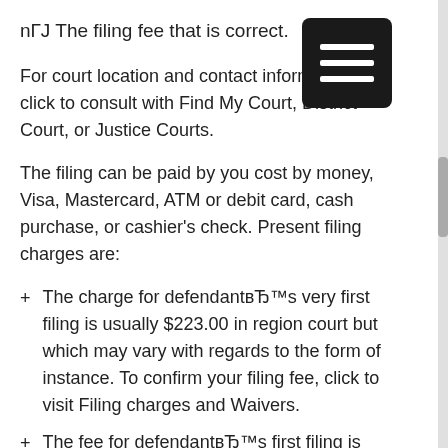nГJ The filing fee that is correct.
[Figure (other): Menu icon — dark square with three horizontal white lines (hamburger menu)]
For court location and contact information, click to consult with Find My Court, District Court, or Justice Courts.
The filing can be paid by you cost by money, Visa, Mastercard, ATM or debit card, cash purchase, or cashier's check. Present filing charges are:
The charge for defendantвЂ™s very first filing is usually $223.00 in region court but which may vary with regards to the form of instance. To confirm your filing fee, click to visit Filing charges and Waivers.
The fee for defendantвЂ™s first filing is typically $71 in justice court. To confirm your filing fee, click to visit Filing charges and Waivers.
If you're not able to spend the filing charge, you are able to register a credit card applicatoin to Proceed in Forma Pauperis